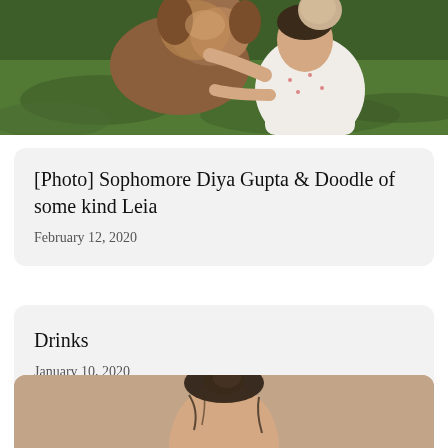[Figure (photo): Photo of a girl in a white dress hugging a large fluffy dog (doodle) outdoors on green grass]
[Photo] Sophomore Diya Gupta & Doodle of some kind Leia
February 12, 2020
Drinks
January 10, 2020
[Figure (photo): Photo of a person with hair up in a bun against a beige/tan background]